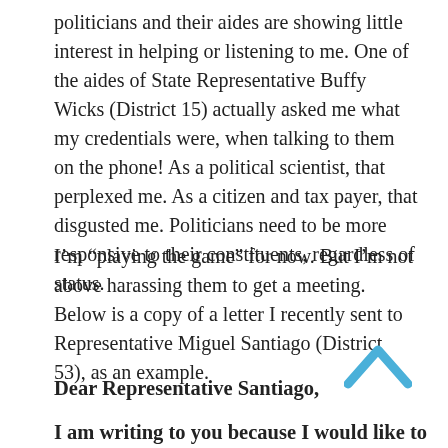politicians and their aides are showing little interest in helping or listening to me. One of the aides of State Representative Buffy Wicks (District 15) actually asked me what my credentials were, when talking to them on the phone! As a political scientist, that perplexed me. As a citizen and tax payer, that disgusted me. Politicians need to be more responsive to their constituents, regardless of status.
I'm “playing the game” for now. But I’m not above harassing them to get a meeting. Below is a copy of a letter I recently sent to Representative Miguel Santiago (District 53), as an example.
Dear Representative Santiago,
I am writing to you because I would like to